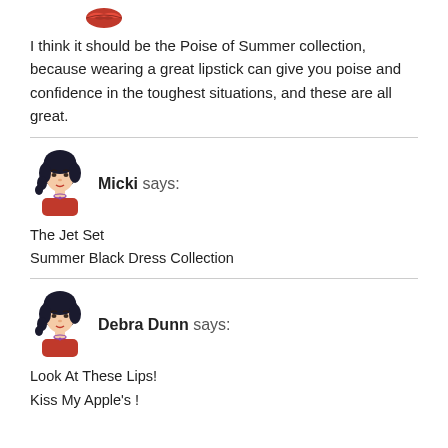[Figure (illustration): Lips/lipstick emoji icon at the top]
I think it should be the Poise of Summer collection, because wearing a great lipstick can give you poise and confidence in the toughest situations, and these are all great.
[Figure (illustration): Cartoon avatar of a woman with dark hair wearing a red dress - Micki]
Micki says:
The Jet Set
Summer Black Dress Collection
[Figure (illustration): Cartoon avatar of a woman with dark hair wearing a red dress - Debra Dunn]
Debra Dunn says:
Look At These Lips!
Kiss My Apple's !